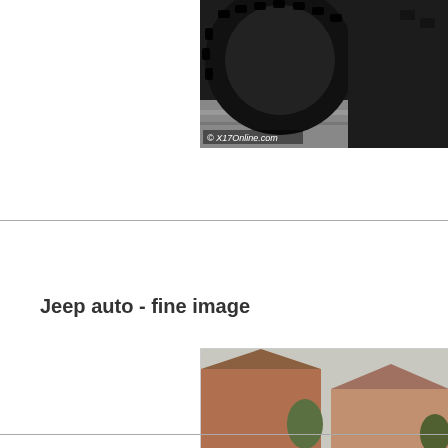[Figure (photo): Partial view of a large black truck/SUV tire from below, with pavement visible. Watermark reads '© X17Online.com']
Jeep auto - fine image
[Figure (photo): A lifted black Jeep CJ with large off-road tires parked on grass in front of a brick house]